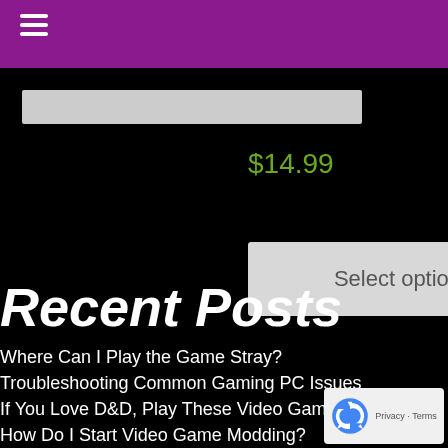Navigation menu bar (hamburger icon, purple background)
[Figure (screenshot): Search input box (light gray rectangle)]
$14.99
Select options
Recent Posts
Where Can I Play the Game Stray?
Troubleshooting Common Gaming PC Issues
If You Love D&D, Play These Video Games
How Do I Start Video Game Modding?
What Every Parent Needs To Know About Video Game…
[Figure (logo): reCAPTCHA badge with Privacy and Terms links]